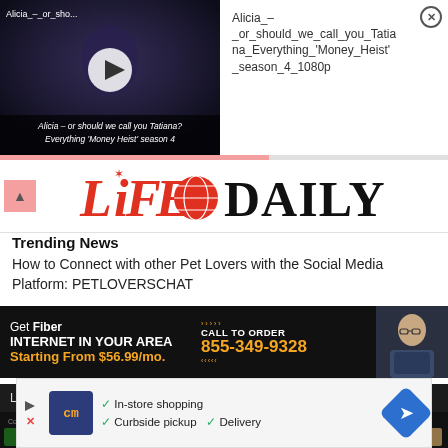[Figure (screenshot): Video thumbnail with play button showing a dark scene. Video title overlay: 'Alicia – or should we call you Tatiana? Everything Money Heist season 4']
Alicia_–_or_should_we_call_you_Tatiana_Everything_'Money_Heist'_season_4_1080p
[Figure (logo): Life Daily logo in red and black. 'LiFE' in red stylized font with a globe icon, 'DAILY' in large black serif font.]
Trending News
How to Connect with other Pet Lovers with the Social Media Platform: PETLOVERSCHAT
[Figure (screenshot): Advertisement banner: Get Fiber INTERNET IN YOUR AREA Starting From $56.99/mo. CALL TO ORDER 855-349-9328, with a man in glasses on the right.]
Lifestyle / News / Our Obsessions
[Figure (screenshot): Dark strip showing streaming content thumbnails labeled 'Continue Watching for Luke']
[Figure (screenshot): Bottom ad banner with CM logo, checkmarks for In-store shopping, Curbside pickup, Delivery, and a blue navigation arrow icon.]